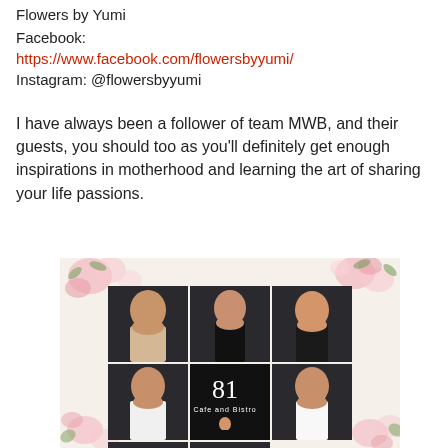Flowers by Yumi
Facebook:
https://www.facebook.com/flowersbyyumi/
Instagram: @flowersbyyumi
I have always been a follower of team MWB, and their guests, you should too as you'll definitely get enough inspirations in motherhood and learning the art of sharing your life passions.
[Figure (photo): A 3x3 grid collage of portrait photos of women against dark backgrounds, decorated with a floral border of pink roses and green leaves. Bottom row partially cut off. Center middle shows '81 Cafe and Bistro' signage with a woman posing.]